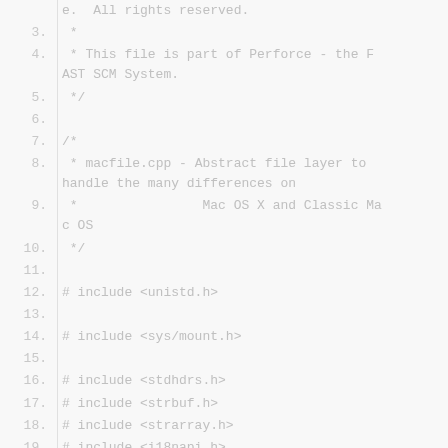Source code listing lines 3-23, C++ file macfile.cpp with copyright header and includes
| line | code |
| --- | --- |
|  | e.  All rights reserved. |
| 3. |  * |
| 4. |  * This file is part of Perforce - the FAST SCM System. |
| 5. |  */ |
| 6. |  |
| 7. | /* |
| 8. |  * macfile.cpp - Abstract file layer to handle the many differences on |
| 9. |  *              Mac OS X and Classic Mac OS |
| 10. |  */ |
| 11. |  |
| 12. | # include <unistd.h> |
| 13. |  |
| 14. | # include <sys/mount.h> |
| 15. |  |
| 16. | # include <stdhdrs.h> |
| 17. | # include <strbuf.h> |
| 18. | # include <strarray.h> |
| 19. | # include <i18napi.h> |
| 20. |  |
| 21. | # include "macfile.h" |
| 22. |  |
| 23. | static bool |